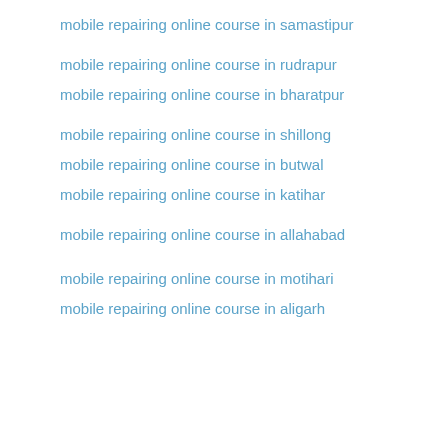mobile repairing online course in samastipur
mobile repairing online course in rudrapur
mobile repairing online course in bharatpur
mobile repairing online course in shillong
mobile repairing online course in butwal
mobile repairing online course in katihar
mobile repairing online course in allahabad
mobile repairing online course in motihari
mobile repairing online course in aligarh